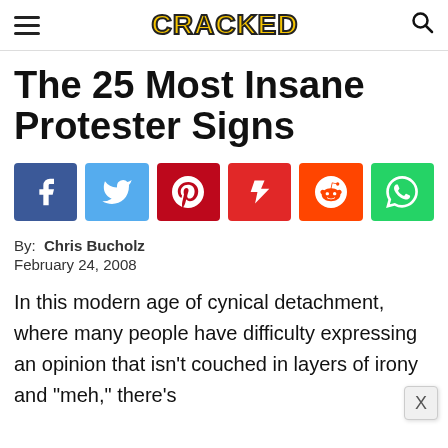CRACKED
The 25 Most Insane Protester Signs
[Figure (infographic): Social sharing buttons: Facebook (blue), Twitter (light blue), Pinterest (dark red), Flipboard (red), Reddit (orange-red), WhatsApp (green)]
By: Chris Bucholz
February 24, 2008
In this modern age of cynical detachment, where many people have difficulty expressing an opinion that isn't couched in layers of irony and "meh," there's